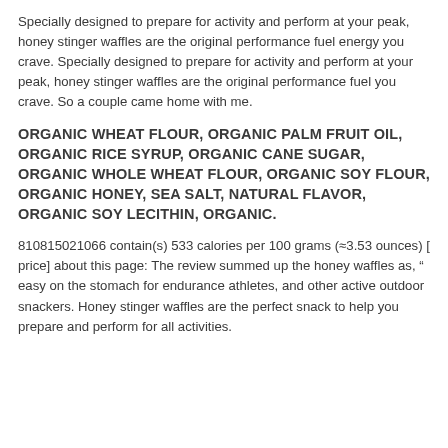Specially designed to prepare for activity and perform at your peak, honey stinger waffles are the original performance fuel energy you crave. Specially designed to prepare for activity and perform at your peak, honey stinger waffles are the original performance fuel you crave. So a couple came home with me.
ORGANIC WHEAT FLOUR, ORGANIC PALM FRUIT OIL, ORGANIC RICE SYRUP, ORGANIC CANE SUGAR, ORGANIC WHOLE WHEAT FLOUR, ORGANIC SOY FLOUR, ORGANIC HONEY, SEA SALT, NATURAL FLAVOR, ORGANIC SOY LECITHIN, ORGANIC.
810815021066 contain(s) 533 calories per 100 grams (≈3.53 ounces) [ price] about this page: The review summed up the honey waffles as, “ easy on the stomach for endurance athletes, and other active outdoor snackers. Honey stinger waffles are the perfect snack to help you prepare and perform for all activities.